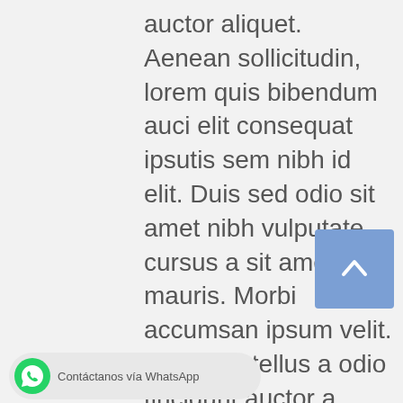auctor aliquet. Aenean sollicitudin, lorem quis bibendum auci elit consequat ipsutis sem nibh id elit. Duis sed odio sit amet nibh vulputate cursus a sit amet mauris. Morbi accumsan ipsum velit. Nam nec tellus a odio tincidunt auctor a ornare odio. Sed non mauris vitae erat consequat auctor eu in elit. Class aptent taciti sociosquad litora torquent per conubia nostra, per inceptos himenaeos. Mauris in erat justo. Nullam ac urna eu felis mentum sit amet a augue. Sed non mauris vitae erat
[Figure (other): Blue scroll-to-top button with upward chevron arrow]
[Figure (other): WhatsApp contact button with green WhatsApp icon and text 'Contáctanos vía WhatsApp']